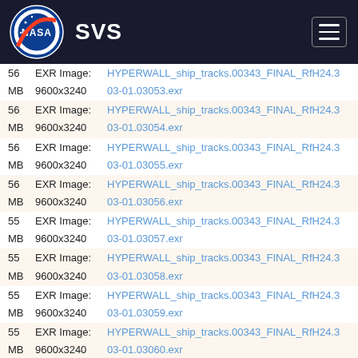NASA SVS
56 MB  EXR Image:  9600x3240  HYPERWALL_ship_tracks.00343_FINAL_RfH24.3  03-01.03053.exr
56 MB  EXR Image:  9600x3240  HYPERWALL_ship_tracks.00343_FINAL_RfH24.3  03-01.03054.exr
56 MB  EXR Image:  9600x3240  HYPERWALL_ship_tracks.00343_FINAL_RfH24.3  03-01.03055.exr
56 MB  EXR Image:  9600x3240  HYPERWALL_ship_tracks.00343_FINAL_RfH24.3  03-01.03056.exr
55 MB  EXR Image:  9600x3240  HYPERWALL_ship_tracks.00343_FINAL_RfH24.3  03-01.03057.exr
55 MB  EXR Image:  9600x3240  HYPERWALL_ship_tracks.00343_FINAL_RfH24.3  03-01.03058.exr
55 MB  EXR Image:  9600x3240  HYPERWALL_ship_tracks.00343_FINAL_RfH24.3  03-01.03059.exr
55 MB  EXR Image:  9600x3240  HYPERWALL_ship_tracks.00343_FINAL_RfH24.3  03-01.03060.exr
55 MB  EXR Image:  9600x3240  HYPERWALL_ship_tracks.00343_FINAL_RfH24.3  03-01.03061.exr
55 MB  EXR Image:  HYPERWALL_ship_tracks.00343_FINAL_RfH24.3